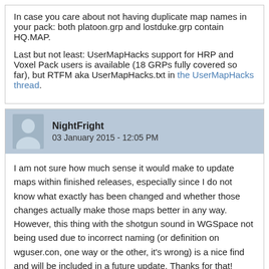In case you care about not having duplicate map names in your pack: both platoon.grp and lostduke.grp contain HQ.MAP.

Last but not least: UserMapHacks support for HRP and Voxel Pack users is available (18 GRPs fully covered so far), but RTFM aka UserMapHacks.txt in the UserMapHacks thread.
NightFright
03 January 2015 - 12:05 PM
I am not sure how much sense it would make to update maps within finished releases, especially since I do not know what exactly has been changed and whether those changes actually make those maps better in any way. However, this thing with the shotgun sound in WGSpace not being used due to incorrect naming (or definition on wguser.con, one way or the other, it's wrong) is a nice find and will be included in a future update. Thanks for that!

Since I am pretty sure there will be more things like this, I will be collecting fixes for a while first. Maybe someone even gets "Nuclear Showdown" properly working again with recent EDuke32 snapshots (though I am still not exactly sure what exactly isn't working there - I